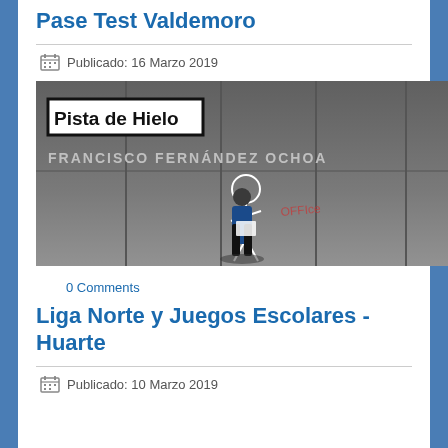Pase Test Valdemoro
Publicado: 16 Marzo 2019
[Figure (photo): Person standing in front of a concrete wall with 'Pista de Hielo' sign and 'FRANCISCO FERNÁNDEZ OCHOA' text, holding a document]
0 Comments
Liga Norte y Juegos Escolares - Huarte
Publicado: 10 Marzo 2019